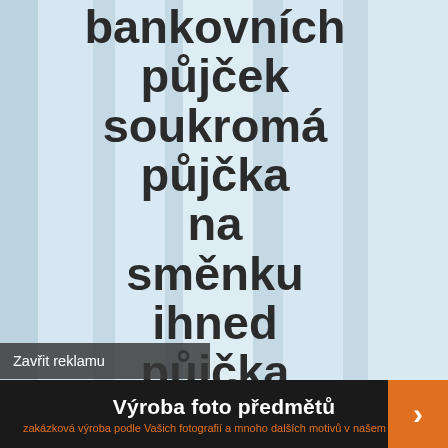[Figure (illustration): Light blue striped background with large bold Czech text listing loan-related keywords: bankovních půjček, soukromá půjčka na směnku ihned, půjčka na smenku od...]
Zavřit reklamu
Výroba foto předmětů
zakázková výroba podle Vašich fotografií a mnoho dalších motivů v našem eshopu